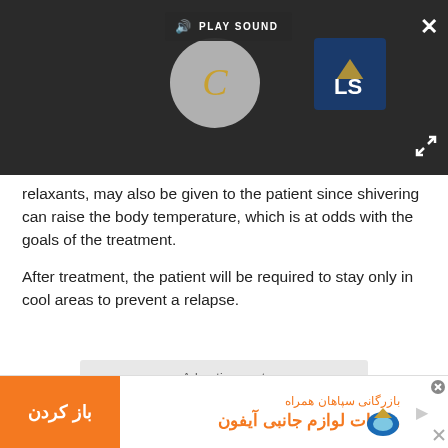[Figure (screenshot): Video player with dark background, gray circle play button with gold C letter, LS logo in blue box, PLAY SOUND button at top, close X button top right, expand icon bottom right]
relaxants, may also be given to the patient since shivering can raise the body temperature, which is at odds with the goals of the treatment.
After treatment, the patient will be required to stay only in cool areas to prevent a relapse.
Advertisement
[Figure (infographic): Advertisement banner in Persian/Farsi text for iPhone accessories from Sepahan Hamrah trading company, orange button with باز کردن (Open), orange text واردات لوازم جانبی آیفون, logo on right]